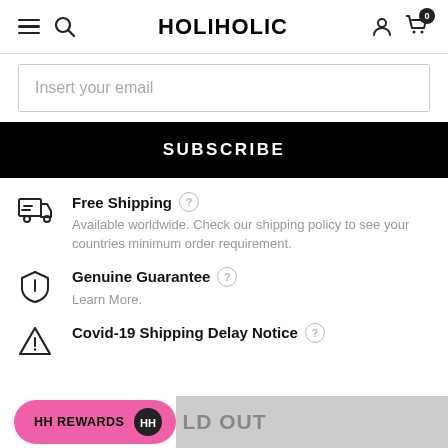HOLIHOLIC
Insert your email
SUBSCRIBE
Free Shipping — Available worldwide. Check our shipping policy to see your countries minimum order requirement.
Genuine Guarantee — Learn More.
Covid-19 Shipping Delay Notice
HH REWARDS
LD OUT